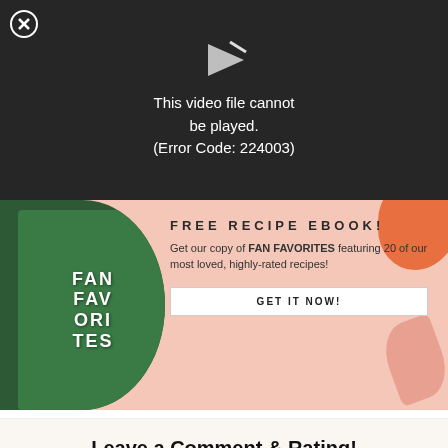[Figure (screenshot): Video player error overlay on dark background with close button (X in circle) and a play icon arrow. Text reads: This video file cannot be played. (Error Code: 224003)]
[Figure (infographic): Pink promotional banner for a free recipe ebook 'Fan Favorites' featuring a book mockup on the left against a dark green circle background, decorative orange blob and pink leaf on the right. Text: FREE RECIPE EBOOK! Get our copy of FAN FAVORITES featuring 20 of our most loved, highly-rated recipes! GET IT NOW!]
Leave a Comment & Rating!
Have a question? Use ctrl+f or ⌘+f on your computer or the "find on page" function on your